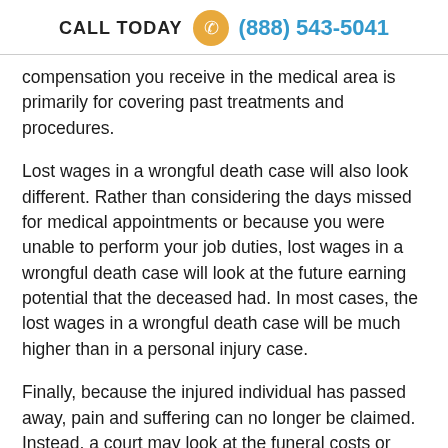CALL TODAY (888) 543-5041
compensation you receive in the medical area is primarily for covering past treatments and procedures.
Lost wages in a wrongful death case will also look different. Rather than considering the days missed for medical appointments or because you were unable to perform your job duties, lost wages in a wrongful death case will look at the future earning potential that the deceased had. In most cases, the lost wages in a wrongful death case will be much higher than in a personal injury case.
Finally, because the injured individual has passed away, pain and suffering can no longer be claimed. Instead, a court may look at the funeral costs or other expenses associated with the passing of the